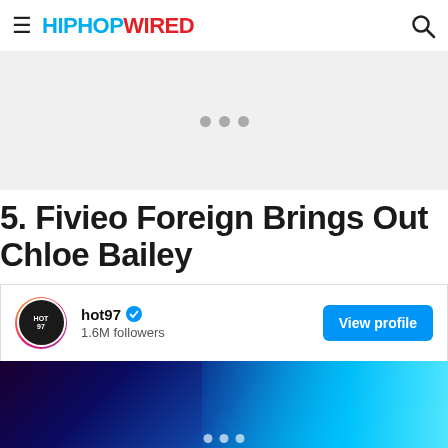HIPHOPWIRED
[Figure (other): Advertisement placeholder area with three gray dots]
5. Fivieo Foreign Brings Out Chloe Bailey
[Figure (screenshot): Instagram embed showing hot97 account with 1.6M followers and View profile button, with a concert/stage image below showing blue lights]